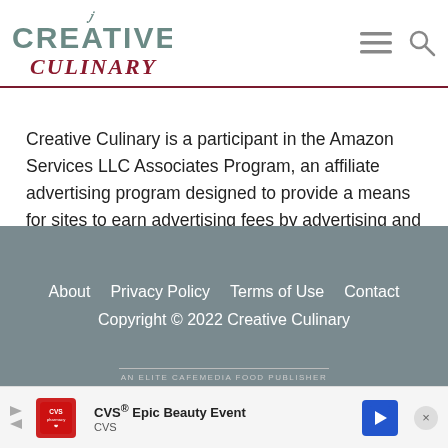[Figure (logo): Creative Culinary logo with fork symbol, teal uppercase CREATIVE text and dark red italic Culinary script]
Creative Culinary is a participant in the Amazon Services LLC Associates Program, an affiliate advertising program designed to provide a means for sites to earn advertising fees by advertising and linking to Amazon.com .
About   Privacy Policy   Terms of Use   Contact
Copyright © 2022 Creative Culinary
AN ELITE CAFEMEDIA FOOD PUBLISHER
[Figure (screenshot): CVS Epic Beauty Event advertisement banner with CVS logo, text and navigation arrow]